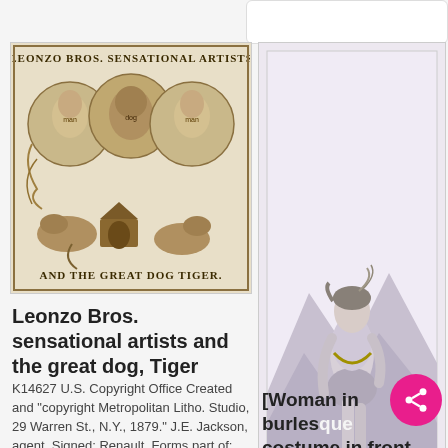[Figure (illustration): Vintage theatrical poster for Leonzo Bros. Sensational Artists and the Great Dog Tiger, sepia tone, showing portraits of two men and a dog in circular vignettes with animals below]
[Figure (photo): Black and white photograph of a woman in burlesque costume standing in front of rocky outcrops, from the Library of Congress collection]
Leonzo Bros. sensational artists and the great dog, Tiger
K14627 U.S. Copyright Office Created and "copyright Metropolitan Litho. Studio, 29 Warren St., N.Y., 1879." J.E. Jackson, agent. Signed: Renault. Forms part of: Theatrical poster collection (Library of Congress)
[Woman in burlesque costume in front of rocky outcrops]